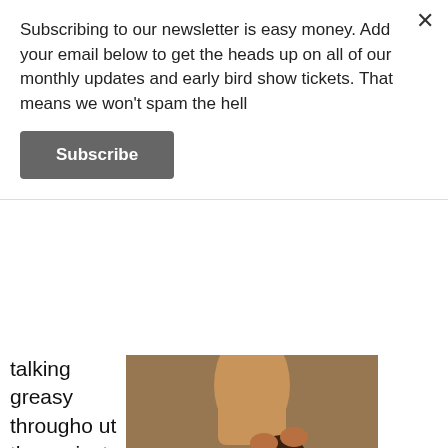Subscribing to our newsletter is easy money. Add your email below to get the heads up on all of our monthly updates and early bird show tickets. That means we won't spam the hell
Subscribe
talking greasy throughout the project. Beyoncé the emcee made an appearance with the singer and autotune crooner. I think these guys are the only ones who could do well with a surprise release. I had a complaint about them doing
[Figure (photo): Album cover or music video still showing a shirtless young Black man seated while someone stands behind him placing hands on his head, with a Parental Advisory label visible in the lower center of the image.]